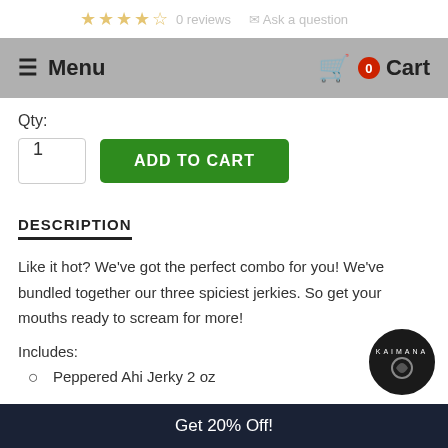Menu  0 Cart
Qty:
1  ADD TO CART
DESCRIPTION
Like it hot? We've got the perfect combo for you! We've bundled together our three spiciest jerkies. So get your mouths ready to scream for more!
Includes:
Peppered Ahi Jerky 2 oz
Get 20% Off!